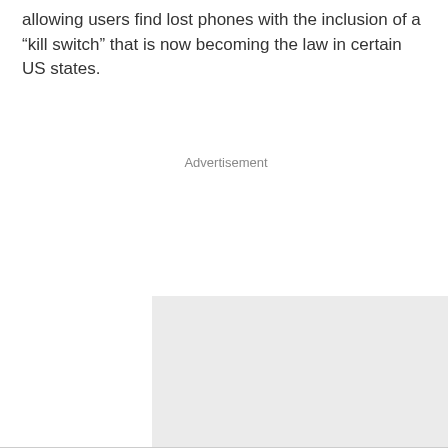allowing users find lost phones with the inclusion of a “kill switch” that is now becoming the law in certain US states.
[Figure (other): Advertisement placeholder box with grey background and 'Advertisement' label at the top]